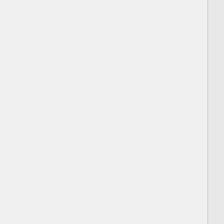for initial assignment from the Tool Window
Assign the Signature to display (setSignat…
Return a map of parameters and assigned values (in…